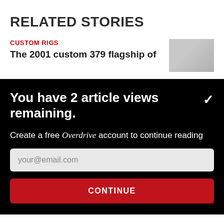RELATED STORIES
CUSTOM RIGS
The 2001 custom 379 flagship of
You have 2 article views remaining.
Create a free Overdrive account to continue reading
your@email.com
CONTINUE